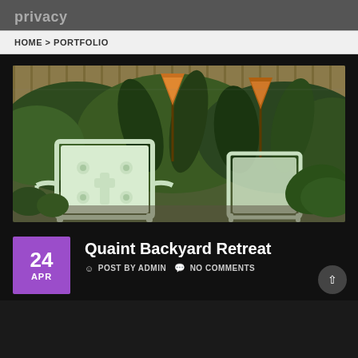privacy
HOME > PORTFOLIO
[Figure (photo): Outdoor backyard garden scene with vintage mint-green metal patio chairs, lush tropical plants including large-leafed plants and ferns, wooden fence in background, orange decorative garden stakes]
Quaint Backyard Retreat
POST BY ADMIN   NO COMMENTS